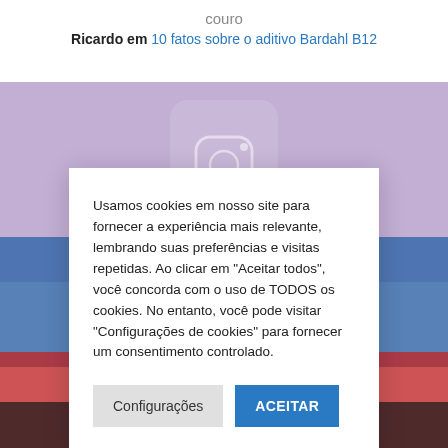couro
Ricardo em 10 fatos sobre o aditivo Bardahl B12
[Figure (photo): Background image showing hands holding a smartphone with social media interface, layered with blue and red tones]
Usamos cookies em nosso site para fornecer a experiência mais relevante, lembrando suas preferências e visitas repetidas. Ao clicar em "Aceitar todos", você concorda com o uso de TODOS os cookies. No entanto, você pode visitar "Configurações de cookies" para fornecer um consentimento controlado.
Configurações
ACEITAR